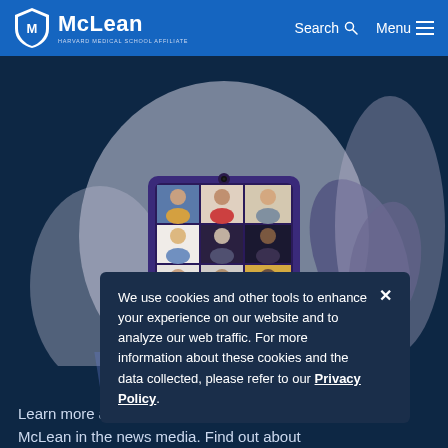McLean — Harvard Medical School Affiliate | Search | Menu
[Figure (illustration): Illustration of a video conference call on a desktop monitor showing 9 participants in a 3x3 grid, with a dark blue background, decorative plants and mug on either side, and a webcam on top of the monitor.]
We use cookies and other tools to enhance your experience on our website and to analyze our web traffic. For more information about these cookies and the data collected, please refer to our Privacy Policy.
Learn more about treatment programs. Watch clips of McLean in the news media. Find out about